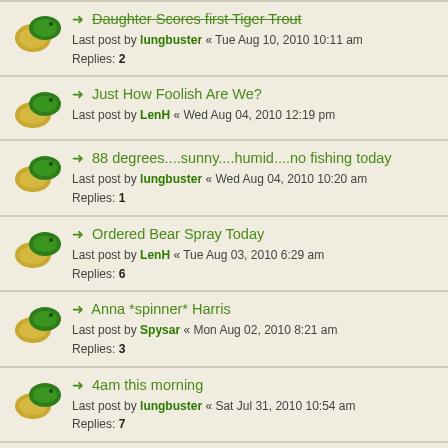Daughter Scores first Tiger Trout
Last post by lungbuster « Tue Aug 10, 2010 10:11 am
Replies: 2
Just How Foolish Are We?
Last post by LenH « Wed Aug 04, 2010 12:19 pm
88 degrees....sunny....humid....no fishing today
Last post by lungbuster « Wed Aug 04, 2010 10:20 am
Replies: 1
Ordered Bear Spray Today
Last post by LenH « Tue Aug 03, 2010 6:29 am
Replies: 6
Anna *spinner* Harris
Last post by Spysar « Mon Aug 02, 2010 8:21 am
Replies: 3
4am this morning
Last post by lungbuster « Sat Jul 31, 2010 10:54 am
Replies: 7
Wisconsin Driftless Area Brookies
Last post by lungbuster « Sat Jul 31, 2010 10:49 am
Replies: 1
Trout Don't Live In Ugly Places Goes To CHICAGO!